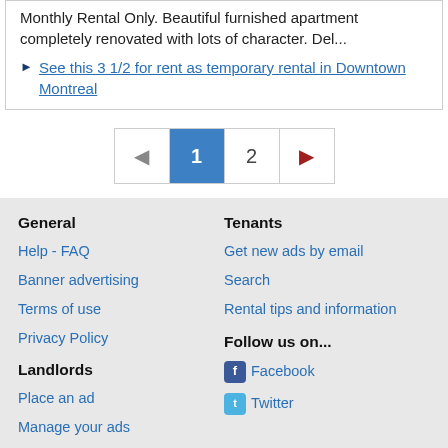Monthly Rental Only. Beautiful furnished apartment completely renovated with lots of character. Del...
See this 3 1/2 for rent as temporary rental in Downtown Montreal
[Figure (other): Pagination control with back arrow, page 1 (active/highlighted blue), page 2, and forward arrow]
General | Help - FAQ | Banner advertising | Terms of use | Privacy Policy | Landlords | Place an ad | Manage your ads | Tenants | Get new ads by email | Search | Rental tips and information | Follow us on... | Facebook | Twitter